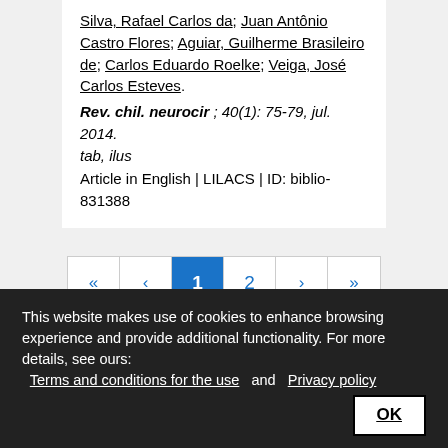Silva, Rafael Carlos da; Juan Antônio Castro Flores; Aguiar, Guilherme Brasileiro de; Carlos Eduardo Roelke; Veiga, José Carlos Esteves.
Rev. chil. neurocir; 40(1): 75-79, jul. 2014. tab, ilus
Article in English | LILACS | ID: biblio-831388
« < 1 2 > >>
This website makes use of cookies to enhance browsing experience and provide additional functionality. For more details, see ours: Terms and conditions for the use and Privacy policy